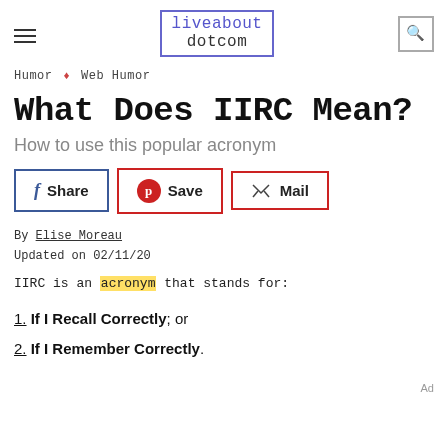liveabout dotcom
Humor ◆ Web Humor
What Does IIRC Mean?
How to use this popular acronym
[Figure (other): Share, Save, Mail social sharing buttons]
By Elise Moreau
Updated on 02/11/20
IIRC is an acronym that stands for:
1. If I Recall Correctly; or
2. If I Remember Correctly.